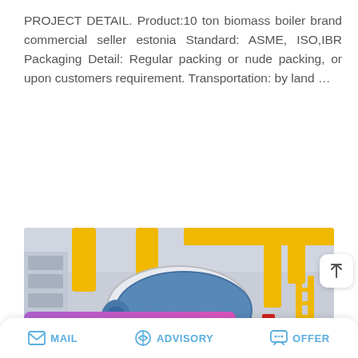PROJECT DETAIL. Product:10 ton biomass boiler brand commercial seller estonia Standard: ASME, ISO,IBR Packaging Detail: Regular packing or nude packing, or upon customers requirement. Transportation: by land …
READ MORE
[Figure (photo): Industrial biomass boiler room with large blue cylindrical boiler, yellow pipes running overhead, red components visible, inside a facility with concrete walls and equipment.]
Save Stickers on WhatsApp
MAIL  ADVISORY  OFFER